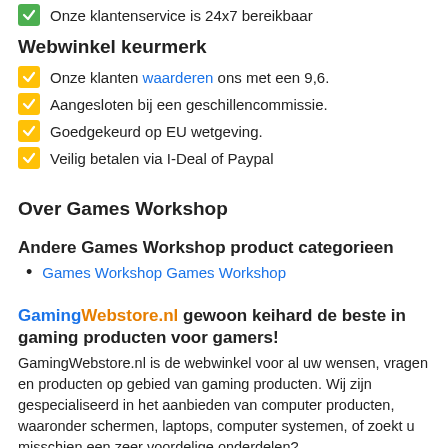Onze klantenservice is 24x7 bereikbaar
Webwinkel keurmerk
Onze klanten waarderen ons met een 9,6.
Aangesloten bij een geschillencommissie.
Goedgekeurd op EU wetgeving.
Veilig betalen via I-Deal of Paypal
Over Games Workshop
Andere Games Workshop product categorieen
Games Workshop Games Workshop
GamingWebstore.nl gewoon keihard de beste in gaming producten voor gamers!
GamingWebstore.nl is de webwinkel voor al uw wensen, vragen en producten op gebied van gaming producten. Wij zijn gespecialiseerd in het aanbieden van computer producten, waaronder schermen, laptops, computer systemen, of zoekt u misschien een zeer voordelige onderdelen?